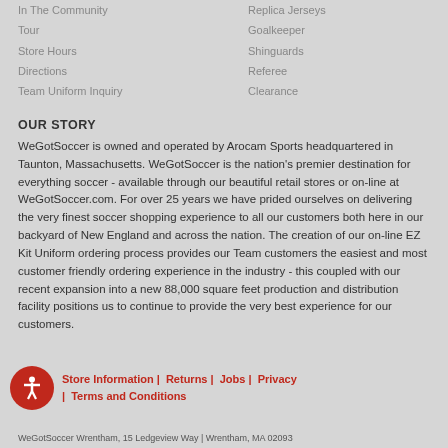In The Community
Replica Jerseys
Tour
Goalkeeper
Store Hours
Shinguards
Directions
Referee
Team Uniform Inquiry
Clearance
OUR STORY
WeGotSoccer is owned and operated by Arocam Sports headquartered in Taunton, Massachusetts. WeGotSoccer is the nation's premier destination for everything soccer - available through our beautiful retail stores or on-line at WeGotSoccer.com. For over 25 years we have prided ourselves on delivering the very finest soccer shopping experience to all our customers both here in our backyard of New England and across the nation. The creation of our on-line EZ Kit Uniform ordering process provides our Team customers the easiest and most customer friendly ordering experience in the industry - this coupled with our recent expansion into a new 88,000 square feet production and distribution facility positions us to continue to provide the very best experience for our customers.
Store Information |  Returns |  Jobs |  Privacy |  Terms and Conditions
WeGotSoccer Wrentham, 15 Ledgeview Way | Wrentham, MA 02093